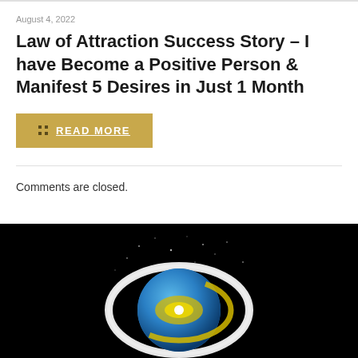August 4, 2022
Law of Attraction Success Story – I have Become a Positive Person & Manifest 5 Desires in Just 1 Month
READ MORE
Comments are closed.
[Figure (illustration): Stylized planet or galaxy illustration with a glowing white ring, blue sphere, and yellow spiral elements on a black background.]